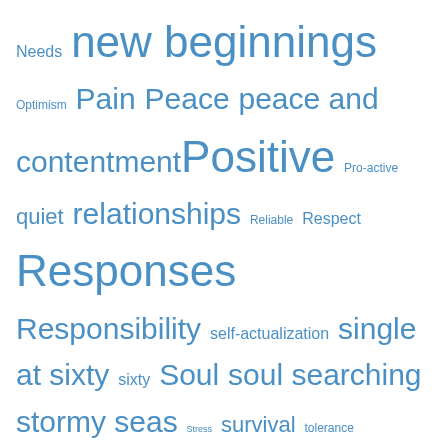[Figure (infographic): Tag cloud with words in varying sizes and blue color. Words include: Needs, new beginnings, Optimism, Pain, Peace, peace and contentment, Positive, Pro-active, quiet, relationships, Reliable, Respect, Responses, Responsibility, self-actualization, single at sixty, sixty, Soul, soul searching, stormy seas, Stress, survival, tolerance, Transformation, transition, Trust, truth, weight control, wisdom, women, writing, yearning]
Top Posts & Pages
Home again
Week 31 - Milestones
My needs. Introduction